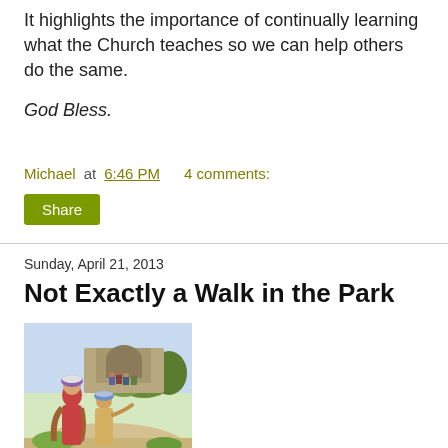It highlights the importance of continually learning what the Church teaches so we can help others do the same.
God Bless.
Michael at 6:46 PM    4 comments:
Share
Sunday, April 21, 2013
Not Exactly a Walk in the Park
[Figure (illustration): A painting depicting two figures in biblical-era robes standing in a garden or park-like setting with a crowd and stone architecture in the background.]